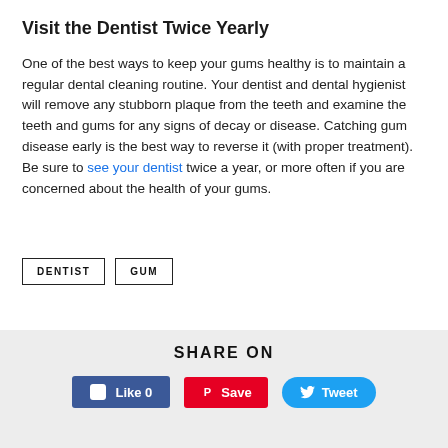Visit the Dentist Twice Yearly
One of the best ways to keep your gums healthy is to maintain a regular dental cleaning routine. Your dentist and dental hygienist will remove any stubborn plaque from the teeth and examine the teeth and gums for any signs of decay or disease. Catching gum disease early is the best way to reverse it (with proper treatment). Be sure to see your dentist twice a year, or more often if you are concerned about the health of your gums.
DENTIST
GUM
SHARE ON
Like 0
Save
Tweet